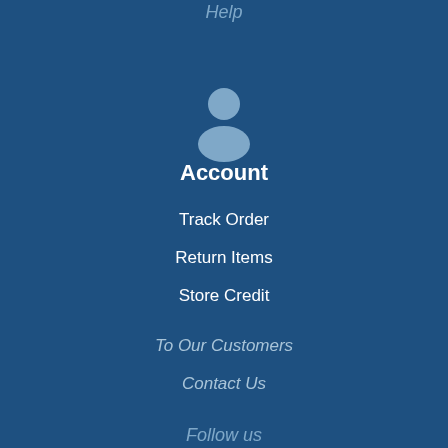Help
[Figure (illustration): A generic user/account silhouette icon in light blue-grey color on dark blue background, showing a circle for head and rounded rectangle for body/shoulders]
Account
Track Order
Return Items
Store Credit
To Our Customers
Contact Us
Follow us